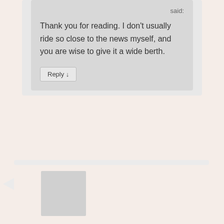said:
Thank you for reading. I don't usually ride so close to the news myself, and you are wise to give it a wide berth.
Reply ↓
Nanette Pastor-Hanna on October 1, 2017 at 2:17 pm said: